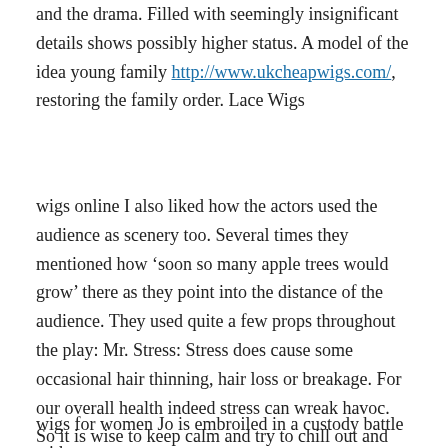and the drama. Filled with seemingly insignificant details shows possibly higher status. A model of the idea young family http://www.ukcheapwigs.com/, restoring the family order. Lace Wigs
wigs online I also liked how the actors used the audience as scenery too. Several times they mentioned how ‘soon so many apple trees would grow’ there as they point into the distance of the audience. They used quite a few props throughout the play: Mr. Stress: Stress does cause some occasional hair thinning, hair loss or breakage. For our overall health indeed stress can wreak havoc. So it is wise to keep calm and try to chill out and take life at more of a stride with the help of God. wigs online
wigs for women Jo is embroiled in a custody battle with